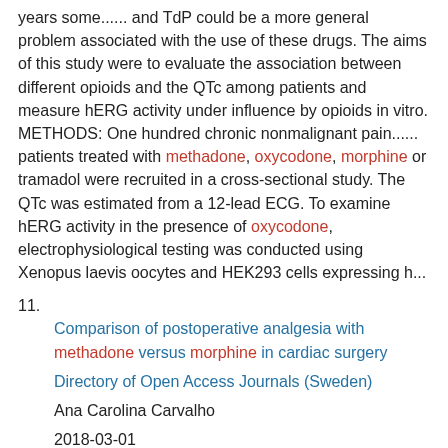years some...... and TdP could be a more general problem associated with the use of these drugs. The aims of this study were to evaluate the association between different opioids and the QTc among patients and measure hERG activity under influence by opioids in vitro. METHODS: One hundred chronic nonmalignant pain...... patients treated with methadone, oxycodone, morphine or tramadol were recruited in a cross-sectional study. The QTc was estimated from a 12-lead ECG. To examine hERG activity in the presence of oxycodone, electrophysiological testing was conducted using Xenopus laevis oocytes and HEK293 cells expressing h...
11. Comparison of postoperative analgesia with methadone versus morphine in cardiac surgery
Directory of Open Access Journals (Sweden)
Ana Carolina Carvalho
2018-03-01
Full Text Available Background and objectives: Pain is an aggravating factor of postoperative morbidity and mortality. The aim of this study was to compare the effects of methadone...